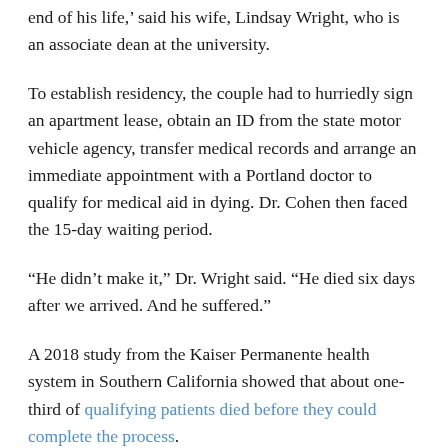end of his life,' said his wife, Lindsay Wright, who is an associate dean at the university.
To establish residency, the couple had to hurriedly sign an apartment lease, obtain an ID from the state motor vehicle agency, transfer medical records and arrange an immediate appointment with a Portland doctor to qualify for medical aid in dying. Dr. Cohen then faced the 15-day waiting period.
“He didn’t make it,” Dr. Wright said. “He died six days after we arrived. And he suffered.”
A 2018 study from the Kaiser Permanente health system in Southern California showed that about one-third of qualifying patients died before they could complete the process.
New Mexico, which in June became the most recent state to legalize medical aid in dying, has adopted a markedly less